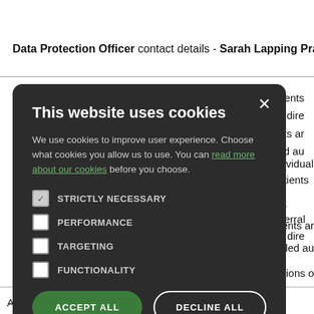Data Protection Officer contact details - Sarah Lapping Pra...
...individual patients
...o a referral for dire...
...ions, treatments ar...
...re. (This is called au...
...ollowing sections o...
Article 6(1)(e) '…necessary for the performance of
[Figure (screenshot): Cookie consent modal dialog on a dark background with title 'This website uses cookies', body text about cookie usage with a link 'read more about our cookies', checkboxes for STRICTLY NECESSARY (checked), PERFORMANCE, TARGETING, FUNCTIONALITY, and two buttons: ACCEPT ALL (green) and DECLINE ALL (outline).]